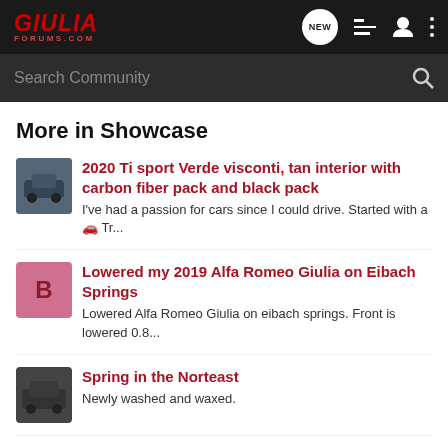GiuliaForums.com
Search Community
More in Showcase
2020 Ti sport Verde visconti, tan interior with carbon fiber pack and black pack
I've had a passion for cars since I could drive. Started with a 🚗 Tr...
Lowered my 2019 Alfa Romeo Giulia on Eibach Springs
Lowered Alfa Romeo Giulia on eibach springs. Front is lowered 0.8...
Spring in the Norteast
Newly washed and waxed.
알파로메오줄리아 내 차 자랑 합니다
Work parking lot